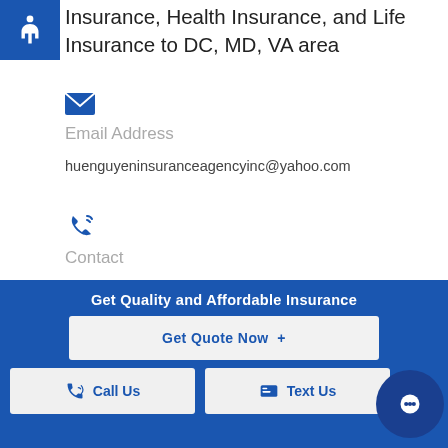Auto Insurance, Home Insurance, Business Insurance, Health Insurance, and Life Insurance to DC, MD, VA area
Email Address
huenguyeninsuranceagencyinc@yahoo.com
Contact
Get Quality and Affordable Insurance
Get Quote Now +
Call Us
Text Us